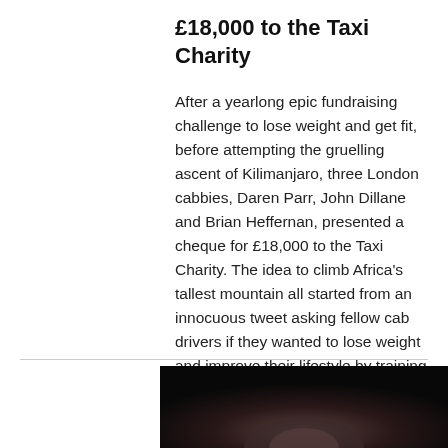£18,000 to the Taxi Charity
After a yearlong epic fundraising challenge to lose weight and get fit, before attempting the gruelling ascent of Kilimanjaro, three London cabbies, Daren Parr, John Dillane and Brian Heffernan, presented a cheque for £18,000 to the Taxi Charity. The idea to climb Africa's tallest mountain all started from an innocuous tweet asking fellow cab drivers if they wanted to lose weight and improve their lifestyle by training to climb Kilimanjaro, while raising money for the Taxi Ch
[Figure (photo): A dark photograph showing people, partially visible at the bottom of the page.]